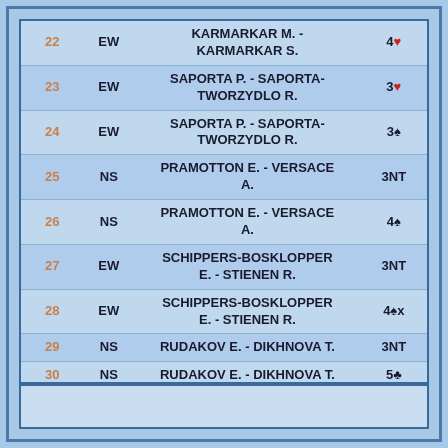| # | Vul | Players | Contract |
| --- | --- | --- | --- |
| 22 | EW | KARMARKAR M. - KARMARKAR S. | 4♥ |
| 23 | EW | SAPORTA P. - SAPORTA-TWORZYDLO R. | 3♥ |
| 24 | EW | SAPORTA P. - SAPORTA-TWORZYDLO R. | 3♠ |
| 25 | NS | PRAMOTTON E. - VERSACE A. | 3NT |
| 26 | NS | PRAMOTTON E. - VERSACE A. | 4♠ |
| 27 | EW | SCHIPPERS-BOSKLOPPER E. - STIENEN R. | 3NT |
| 28 | EW | SCHIPPERS-BOSKLOPPER E. - STIENEN R. | 4♠x |
| 29 | NS | RUDAKOV E. - DIKHNOVA T. | 3NT |
| 30 | NS | RUDAKOV E. - DIKHNOVA T. | 5♣ |